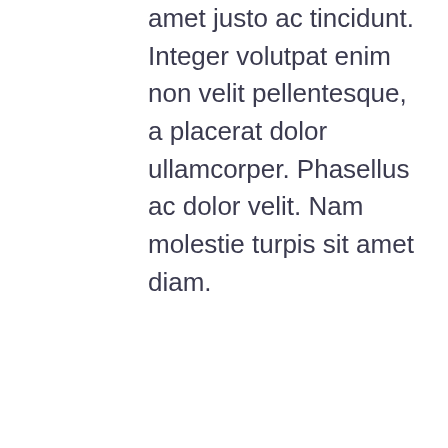amet justo ac tincidunt. Integer volutpat enim non velit pellentesque, a placerat dolor ullamcorper. Phasellus ac dolor velit. Nam molestie turpis sit amet diam.